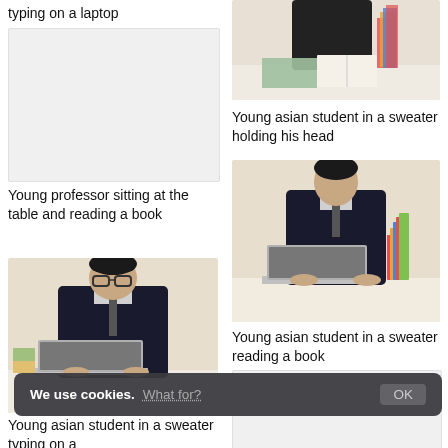typing on a laptop
[Figure (photo): Photo of young student at desk with books (cropped top, right column)]
[Figure (photo): Placeholder gray rectangle (left column)]
Young asian student in a sweater holding his head
[Figure (photo): Young asian man in dark sweater and tie sitting at a desk with a laptop and stack of books, beige background]
Young professor sitting at the table and reading a book
Young asian student in a sweater reading a book
[Figure (photo): Young asian student with glasses in dark sweater and tie sitting at desk with laptop, beige background]
[Figure (photo): Placeholder gray rectangle (right column, bottom)]
Young asian student in a sweater typing on a
We use cookies. What for? OK